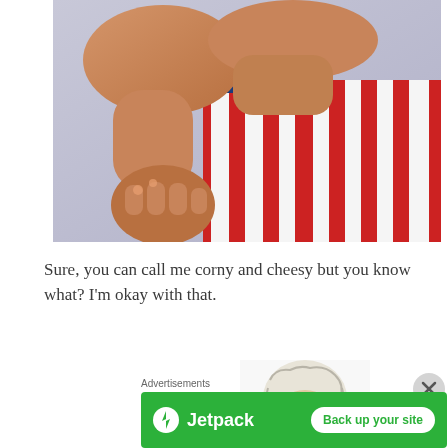[Figure (photo): A person wearing red and white striped pants (American flag pattern) with blue suspenders with stars, with muscular arms crossed, cracking knuckles, shot from neck down against a light purple-grey background.]
Sure, you can call me corny and cheesy but you know what?  I'm okay with that.
[Figure (illustration): Cartoon illustration of an elderly man with white curly hair and glasses, partially visible.]
Advertisements
[Figure (logo): Jetpack advertisement banner with green background, Jetpack logo on left and 'Back up your site' button on right.]